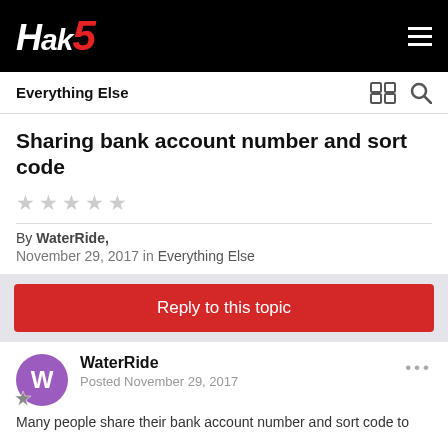HAK5
Everything Else
Sharing bank account number and sort code
By WaterRide, November 29, 2017 in Everything Else
Reply to this topic
WaterRide
Posted November 29, 2017
Many people share their bank account number and sort code to